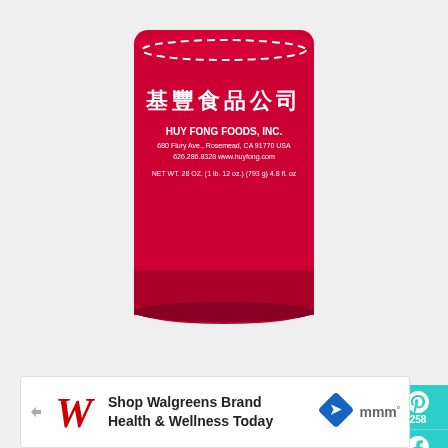[Figure (photo): Partial view of a Huy Fong Foods Sriracha hot sauce bottle (red, with white rooster logo and Chinese characters), cropped showing the bottom half of the bottle against a light gray background.]
[Figure (infographic): Social sharing sidebar on the right edge: teal Pinterest button showing 258, teal Facebook button showing 247, teal email/envelope button, teal heart circle button, count 506, white share circle button with share icon.]
[Figure (screenshot): Walgreens advertisement banner at bottom: Walgreens cursive W logo in red with shopping cart arrows beside it, text 'Shop Walgreens Brand Health & Wellness Today', a blue diamond navigation/map icon, and a small Millennial media (mmm) logo mark.]